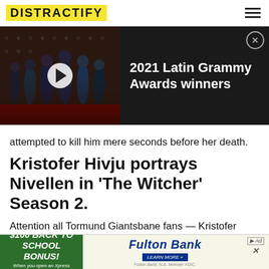DISTRACTIFY
[Figure (screenshot): Video thumbnail showing group of men in formal attire on a red carpet with Grammy Awards branding, with a play button overlay. To the right: '2021 Latin Grammy Awards winners' text on dark background with a close button.]
attempted to kill him mere seconds before her death.
Kristofer Hivju portrays Nivellen in 'The Witcher' Season 2.
Attention all Tormund Giantsbane fans — Kristofer Hivju is portraying Nivellen in Season 2 of The Witcher. The 43-year-old star is best known for his work on Game of Thrones, but others may also know him as Connor Rhodes in The Fa
[Figure (screenshot): Bottom advertisement banner: '$100 BACK TO SCHOOL BONUS! When you open an Xpress Account.' on green background, Fulton Bank logo and 'LEARN MORE' button on right side.]